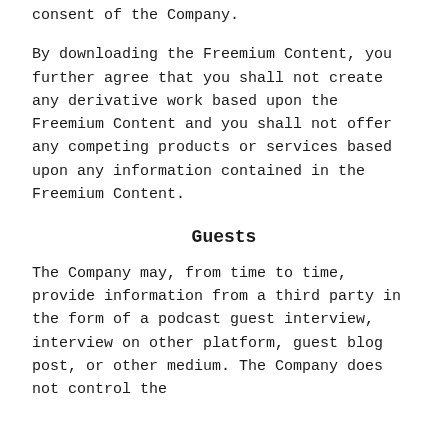consent of the Company.
By downloading the Freemium Content, you further agree that you shall not create any derivative work based upon the Freemium Content and you shall not offer any competing products or services based upon any information contained in the Freemium Content.
Guests
The Company may, from time to time, provide information from a third party in the form of a podcast guest interview, interview on other platform, guest blog post, or other medium. The Company does not control the